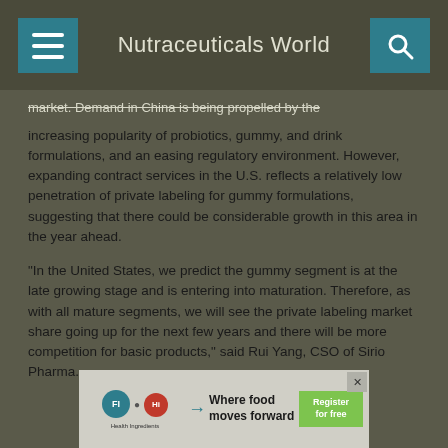Nutraceuticals World
market. Demand in China is being propelled by the increasing popularity of probiotics, gummy, and drink formulations, and an easing regulatory environment. However, expanding contract services in the U.S. reflects a relatively low penetration of private labeling for gummy formulations, suggesting that there could be considerable growth in this area in the year ahead.
“In the United States, we predict the gummy segment is at the late growing stage and is entering into maturation. Therefore, as with all mature segments, we will see the private labeling market share going up for the next few years and there will be more competition for basic products,” said Rui Yang, CSO of Sirio Pharma.
[Figure (other): Advertisement banner: FI and Hi logos with text 'Where food moves forward' and green Register for free button]